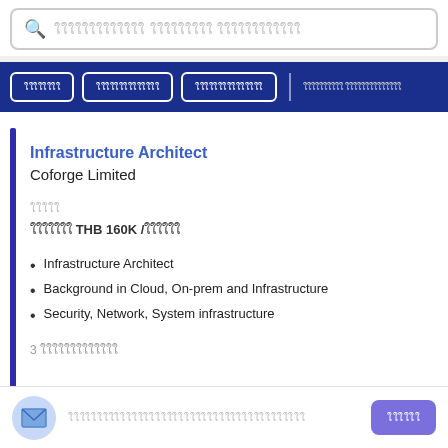Search bar with placeholder text (Thai script)
Navigation tabs: (Thai) | (Thai) | (Thai) | (Thai) (Thai)
Infrastructure Architect
Coforge Limited
(Thai label)
(Thai) THB 160K /(Thai)
Infrastructure Architect
Background in Cloud, On-prem and Infrastructure
Security, Network, System infrastructure
3 (Thai characters)
(Thai placeholder text) | (Thai button)